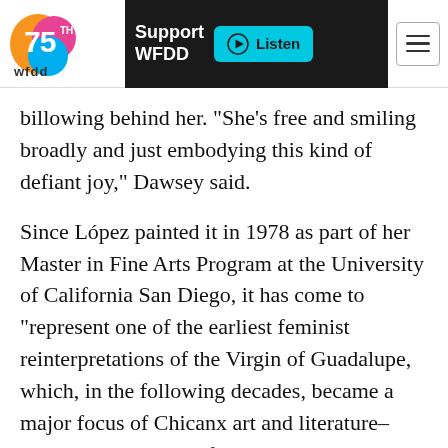wfdd | Support WFDD | Listen
billowing behind her. "She's free and smiling broadly and just embodying this kind of defiant joy," Dawsey said.
Since López painted it in 1978 as part of her Master in Fine Arts Program at the University of California San Diego, it has come to "represent one of the earliest feminist reinterpretations of the Virgin of Guadalupe, which, in the following decades, became a major focus of Chicanx art and literature–owing much to the influence and prevalence of López's work," according to Dawsey.
The curator noted that another favorite message from the artist to the viewer is the title of the